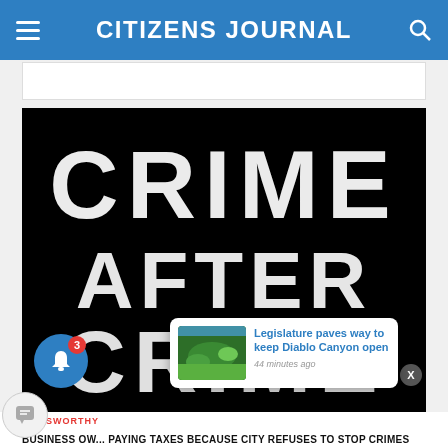CITIZENS JOURNAL
[Figure (screenshot): Black background with distressed white text reading CRIME AFTER CRIME]
NEWSWORTHY
BUSINESS OW... PAYING TAXES BECAUSE CITY REFUSES TO STOP CRIMES
Legislature paves way to keep Diablo Canyon open — 44 minutes ago